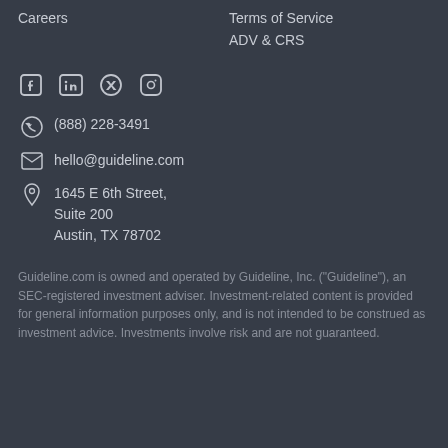Careers | Terms of Service | ADV & CRS
[Figure (illustration): Social media icons: Facebook, LinkedIn, Twitter, Instagram]
(888) 228-3491
hello@guideline.com
1645 E 6th Street, Suite 200, Austin, TX 78702
Guideline.com is owned and operated by Guideline, Inc. ("Guideline"), an SEC-registered investment adviser. Investment-related content is provided for general information purposes only, and is not intended to be construed as investment advice. Investments involve risk and are not guaranteed.